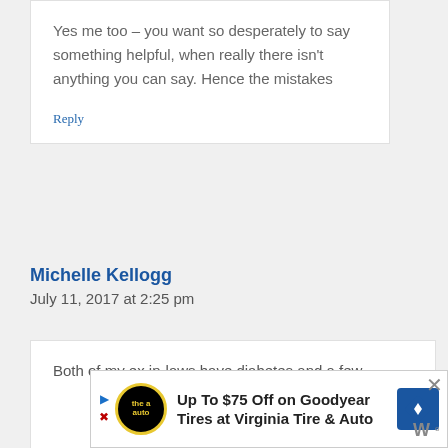Yes me too – you want so desperately to say something helpful, when really there isn't anything you can say. Hence the mistakes
Reply
Michelle Kellogg
July 11, 2017 at 2:25 pm
Both of my ex in-laws have diabetes and a few
[Figure (other): Advertisement banner: Up To $75 Off on Goodyear Tires at Virginia Tire & Auto, with logo and navigation icon]